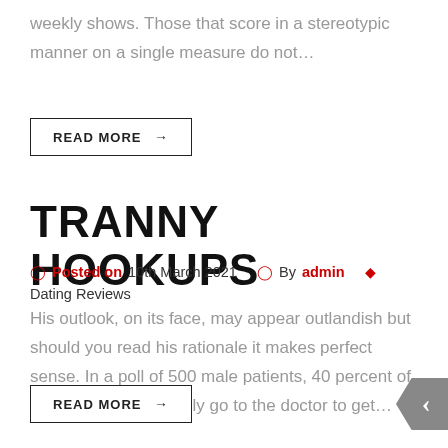weekly shows. Those that score in a stereotypic manner on a single measure do not…
READ MORE →
TRANNY HOOKUPS
Posted on 10th March 2021  By admin  Dating Reviews
His outlook, on its face, may appear outlandish but should you read his rationale it makes perfect sense. In a poll of 500 male patients, 40 percent of men said that they only go to the doctor to get…
READ MORE →